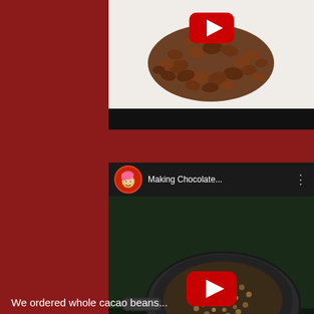[Figure (screenshot): YouTube video thumbnail showing roasted cacao beans piled on a white surface with a red YouTube play button overlay]
[Figure (screenshot): YouTube video embed showing 'Making Chocolate...' with a channel icon of a cartoon chef, showing a dark pan full of cacao/cocoa nibs on a gas stove with a red YouTube play button overlay]
We ordered whole cacao beans...